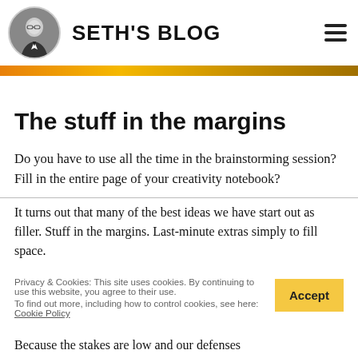SETH'S BLOG
The stuff in the margins
Do you have to use all the time in the brainstorming session? Fill in the entire page of your creativity notebook?
It turns out that many of the best ideas we have start out as filler. Stuff in the margins. Last-minute extras simply to fill space.
Privacy & Cookies: This site uses cookies. By continuing to use this website, you agree to their use. To find out more, including how to control cookies, see here: Cookie Policy
Because the stakes are low and our defenses